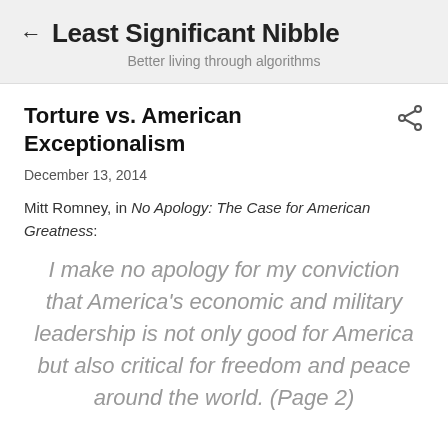← Least Significant Nibble
Better living through algorithms
Torture vs. American Exceptionalism
December 13, 2014
Mitt Romney, in No Apology: The Case for American Greatness:
I make no apology for my conviction that America's economic and military leadership is not only good for America but also critical for freedom and peace around the world. (Page 2)